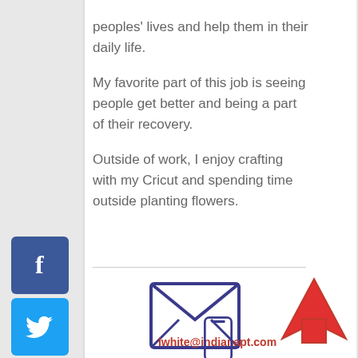peoples' lives and help them in their daily life.

My favorite part of this job is seeing people get better and being a part of their recovery.

Outside of work, I enjoy crafting with my Cricut and spending time outside planting flowers.
[Figure (illustration): Social media sidebar buttons: Facebook (blue), Twitter (cyan), Instagram (pink/red), YouTube (dark red)]
[Figure (illustration): Envelope/mail icon in dark blue outline style]
lwhite@indianapt.com
[Figure (illustration): Red upward arrow icon in bottom right corner]
[Figure (illustration): Mobile phone icon in dark blue outline style, partially visible at bottom]